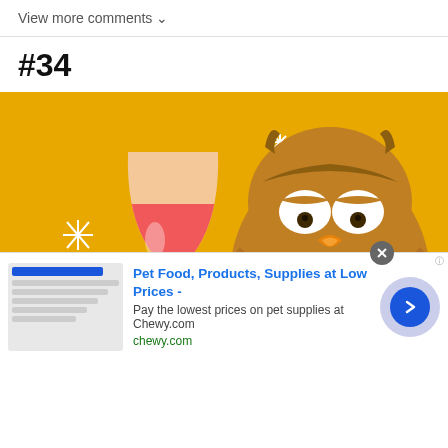View more comments ∨
#34
[Figure (illustration): Cartoon illustration of a brown owl with droopy/tired eyes holding up a wine glass with pink/red liquid on a golden yellow background, with sparkle star decorations around the glass.]
Pet Food, Products, Supplies at Low Prices -
Pay the lowest prices on pet supplies at Chewy.com
chewy.com